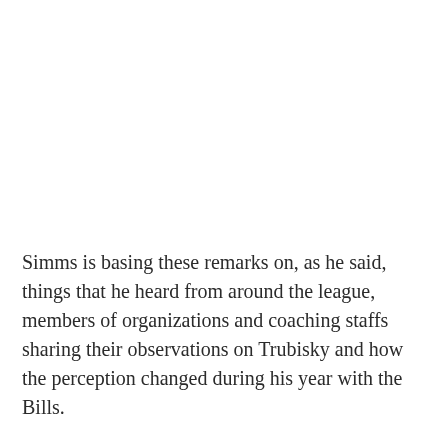Simms is basing these remarks on, as he said, things that he heard from around the league, members of organizations and coaching staffs sharing their observations on Trubisky and how the perception changed during his year with the Bills.
“That’s why I think he’s got put in the spot in Pittsburgh, and I think it’s gonna be tough for Kenny Pickett to beat him out, because there’s real talent with this guy”, he summarized. “Better than what Ben was”, his co-host offered, to which he